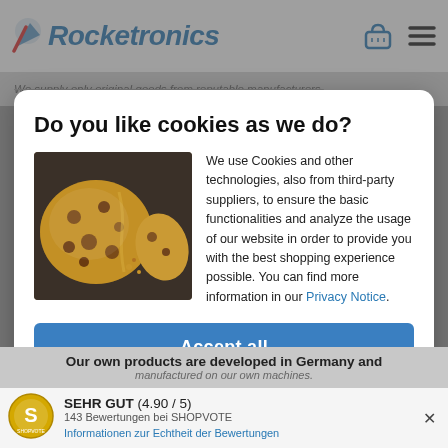Rocketronics
We supply only original goods from reputable manufacturers.
Do you like cookies as we do?
[Figure (photo): A chocolate chip cookie broken in half on a dark surface]
We use Cookies and other technologies, also from third-party suppliers, to ensure the basic functionalities and analyze the usage of our website in order to provide you with the best shopping experience possible. You can find more information in our Privacy Notice.
Accept all
More information
Our own products are developed in Germany and manufactured on our own machines.
SEHR GUT (4.90 / 5)
143 Bewertungen bei SHOPVOTE
Informationen zur Echtheit der Bewertungen